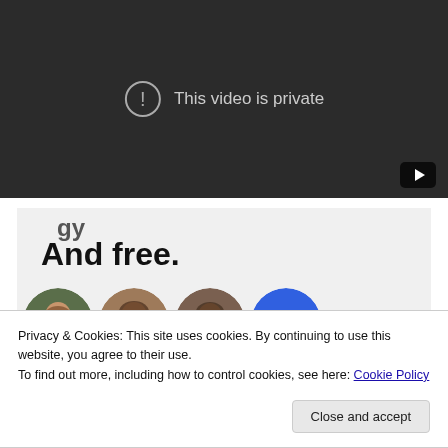[Figure (screenshot): YouTube video embed showing 'This video is private' message with exclamation circle icon on dark background, YouTube logo icon in bottom right corner]
[Figure (screenshot): Website screenshot showing partial text 'And free.' in bold and circular avatar profile photos below it on a light gray background]
Privacy & Cookies: This site uses cookies. By continuing to use this website, you agree to their use.
To find out more, including how to control cookies, see here: Cookie Policy
Close and accept